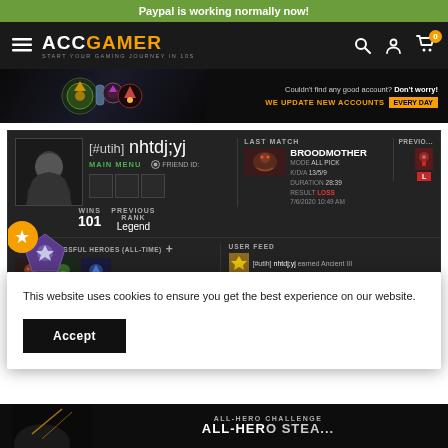Paypal is working normally now!
[Figure (screenshot): AccGamer navigation bar with logo, hamburger menu, search, account, and cart icons]
[Figure (screenshot): Hero banner with game artwork on left and 'Couldn't find any good account? Don't worry! WE UPDATE NEW ACCOUNTS EVERY DAY' text on right]
[Figure (screenshot): Dota 2 game account profile card showing username [#utih] nhtdj;yj, MAIN MENU, FRIEND ID, WINS 101, PREVIOUS RANK Legend, LAST MATCH BROODMOTHER ALL PICK 13/5/9 28:39 LOSS 7/6/2020, MOST SUCCESSFUL HEROES (ALL-TIME), USER FEED [#utih] nhtdj;yj earned Ancient III]
This website uses cookies to ensure you get the best experience on our website.
Accept
[Figure (screenshot): Bottom strip showing ALL-HERO CHALLENGE section with game artwork]